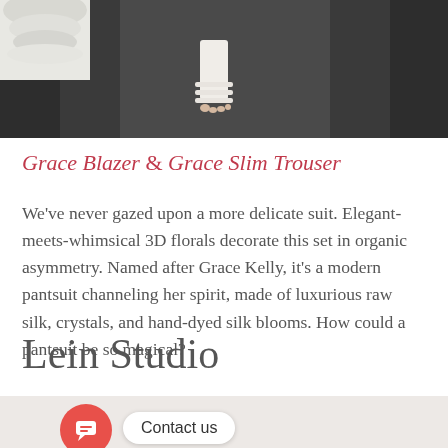[Figure (photo): Fashion runway photo showing a model's feet in white strappy sandals on a dark runway floor, with a white sculptural column base on the left side.]
Grace Blazer & Grace Slim Trouser
We've never gazed upon a more delicate suit. Elegant-meets-whimsical 3D florals decorate this set in organic asymmetry. Named after Grace Kelly, it's a modern pantsuit channeling her spirit, made of luxurious raw silk, crystals, and hand-dyed silk blooms. How could a pantsuit be so magical?
Lein Studio
[Figure (photo): Bottom portion of a fashion photo showing a model with dark curly hair wrapped in white fabric, with a chat widget overlay showing a red circular chat icon button and a white 'Contact us' pill button.]